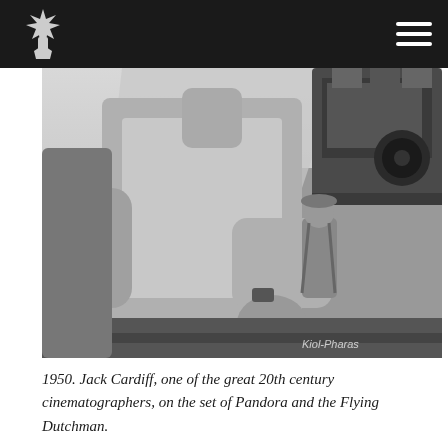[Logo] [Hamburger menu]
[Figure (photo): Black and white photograph from 1950 showing Jack Cardiff, cinematographer, on the film set of Pandora and the Flying Dutchman. A man in a short-sleeved shirt is seen in the foreground, with a large vintage film camera visible on the right, and another person standing in the background. Watermark reads Kiol-Pharas.]
1950. Jack Cardiff, one of the great 20th century cinematographers, on the set of Pandora and the Flying Dutchman.